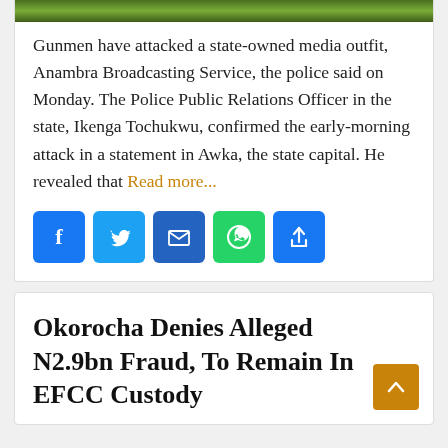[Figure (photo): Green foliage/trees image strip at top of article card]
Gunmen have attacked a state-owned media outfit, Anambra Broadcasting Service, the police said on Monday. The Police Public Relations Officer in the state, Ikenga Tochukwu, confirmed the early-morning attack in a statement in Awka, the state capital. He revealed that Read more...
[Figure (infographic): Social sharing buttons: Facebook, Twitter, Email, WhatsApp, Share]
Okorocha Denies Alleged N2.9bn Fraud, To Remain In EFCC Custody